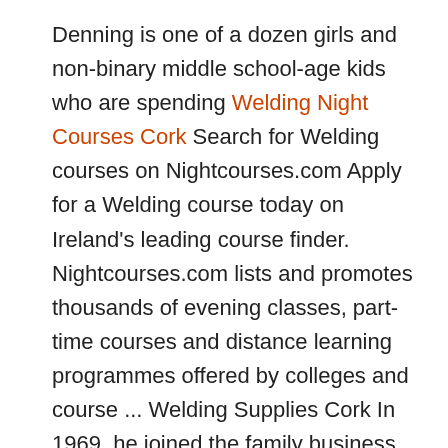Denning is one of a dozen girls and non-binary middle school-age kids who are spending Welding Night Courses Cork Search for Welding courses on Nightcourses.com Apply for a Welding course today on Ireland's leading course finder. Nightcourses.com lists and promotes thousands of evening classes, part-time courses and distance learning programmes offered by colleges and course ... Welding Supplies Cork In 1969, he joined the family business, abco welding supply, and started a welding school
the head of the stud mounts flush in the metal sheet for a clean and more attractive finished appearance compared with alternative methods such as welding. The studs are manufactured from hardened ...
In almost all cases involving zinc barrel or rack